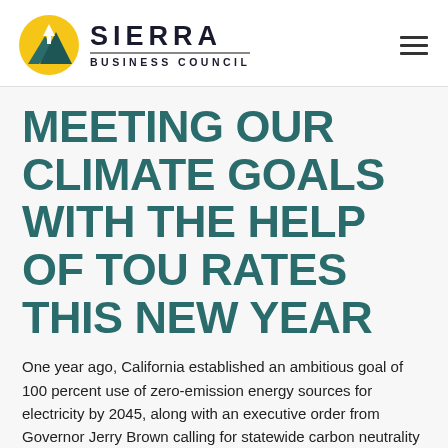[Figure (logo): Sierra Business Council logo with mountain/sun icon and text]
MEETING OUR CLIMATE GOALS WITH THE HELP OF TOU RATES THIS NEW YEAR
One year ago, California established an ambitious goal of 100 percent use of zero-emission energy sources for electricity by 2045, along with an executive order from Governor Jerry Brown calling for statewide carbon neutrality by the same year. These goals will be met by increasing the efficiency of